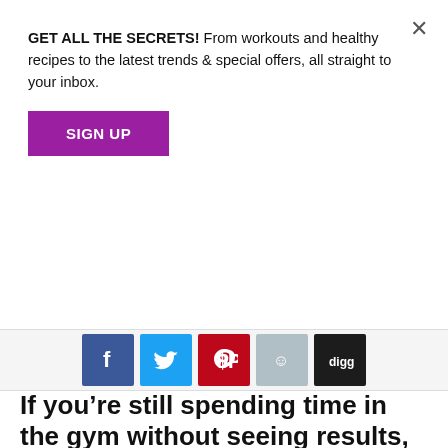GET ALL THE SECRETS! From workouts and healthy recipes to the latest trends & special offers, all straight to your inbox.
[Figure (other): Purple SIGN UP button]
[Figure (other): Social share icons row: Facebook, Twitter, Pinterest, Reddit, Digg]
If you're still spending time in the gym without seeing results, then it's time to consider HIIT, explain The Lean Machines, the UK's biggest fitness YouTubers...
Our resident columns are back! Most of you by now